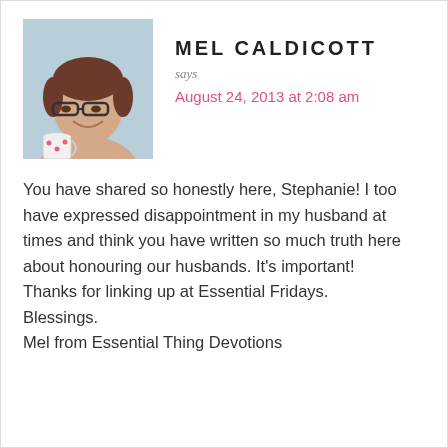[Figure (photo): Profile photo of Mel Caldicott, a woman with short brown hair and glasses, smiling and holding a mug.]
MEL CALDICOTT
says
August 24, 2013 at 2:08 am
You have shared so honestly here, Stephanie! I too have expressed disappointment in my husband at times and think you have written so much truth here about honouring our husbands. It's important!
Thanks for linking up at Essential Fridays.
Blessings.
Mel from Essential Thing Devotions